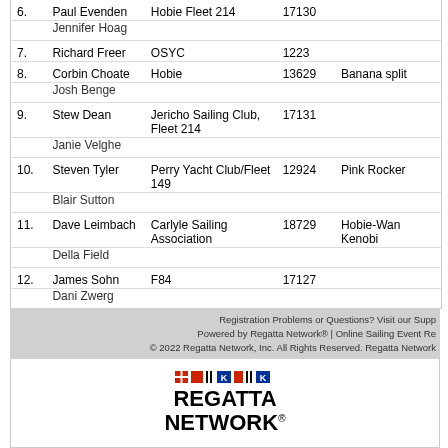| # | Name | Club | Sail | Boat Name |  |
| --- | --- | --- | --- | --- | --- |
| 6. | Paul Evenden | Hobie Fleet 214 | 17130 |  |  |
|  | Jennifer Hoag |  |  |  |  |
| 7. | Richard Freer | OSYC | 1223 |  |  |
| 8. | Corbin Choate | Hobie | 13629 | Banana split |  |
|  | Josh Benge |  |  |  |  |
| 9. | Stew Dean | Jericho Sailing Club, Fleet 214 | 17131 |  |  |
|  | Janie Velghe |  |  |  |  |
| 10. | Steven Tyler | Perry Yacht Club/Fleet 149 | 12924 | Pink Rocker |  |
|  | Blair Sutton |  |  |  |  |
| 11. | Dave Leimbach | Carlyle Sailing Association | 18729 | Hobie-Wan Kenobi |  |
|  | Della Field |  |  |  |  |
| 12. | James Sohn | F84 | 17127 |  |  |
|  | Dani Zwerg |  |  |  |  |
Registration Problems or Questions? Visit our Support Desk | Powered by Regatta Network® | Online Sailing Event Registration | © 2022 Regatta Network, Inc. All Rights Reserved. Regatta Network
[Figure (logo): Regatta Network logo with nautical signal flags above bold text reading REGATTA NETWORK]